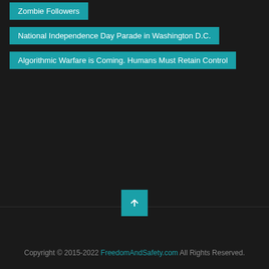Zombie Followers
National Independence Day Parade in Washington D.C.
Algorithmic Warfare is Coming. Humans Must Retain Control
Copyright © 2015-2022 FreedomAndSafety.com All Rights Reserved.